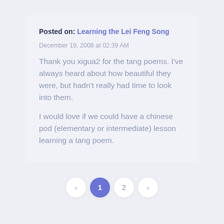Posted on: Learning the Lei Feng Song
December 19, 2008 at 02:39 AM
Thank you xigua2 for the tang poems. I've always heard about how beautiful they were, but hadn't really had time to look into them.

I would love if we could have a chinese pod (elementary or intermediate) lesson learning a tang poem.
‹ 1 2 ›